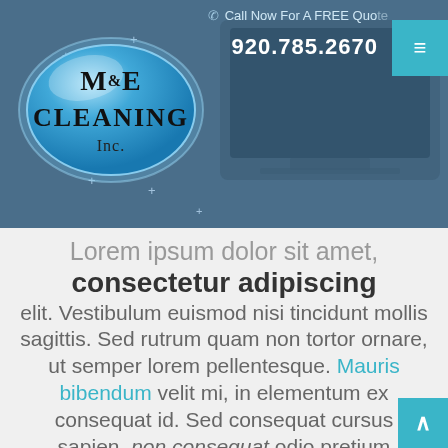[Figure (screenshot): M&E Cleaning Inc. website header with blue oval logo, phone number 920.785.2670, 'Call Now For A FREE Quote' text, and hamburger menu button on blue background with sparkle decorations]
Lorem ipsum dolor sit amet,
consectetur adipiscing
elit. Vestibulum euismod nisi tincidunt mollis sagittis. Sed rutrum quam non tortor ornare, ut semper lorem pellentesque. Mauris bibendum velit mi, in elementum ex consequat id. Sed consequat cursus sapien, non consequat odio pretium